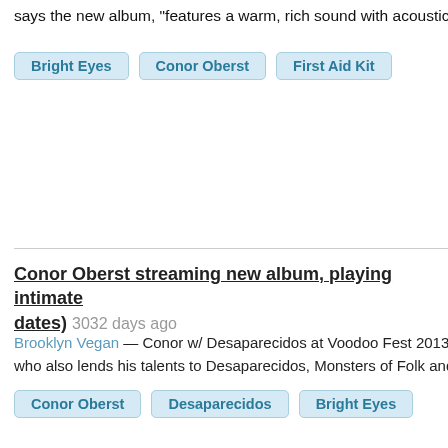says the new album, “features a warm, rich sound with acoustic and
Bright Eyes
Conor Oberst
First Aid Kit
Conor Oberst streaming new album, playing intimate dates) 3032 days ago
Brooklyn Vegan — Conor w/ Desaparecidos at Voodoo Fest 2013 (me who also lends his talents to Desaparecidos, Monsters of Folk and o
Conor Oberst
Desaparecidos
Bright Eyes